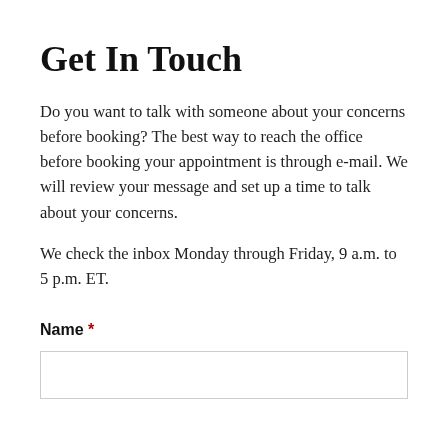Get In Touch
Do you want to talk with someone about your concerns before booking? The best way to reach the office before booking your appointment is through e-mail. We will review your message and set up a time to talk about your concerns.
We check the inbox Monday through Friday, 9 a.m. to 5 p.m. ET.
Name *